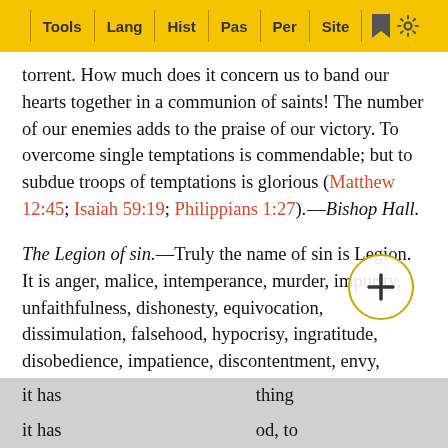Tools | Lang | Hist | Pas | Per | Site
torrent. How much does it concern us to band our hearts together in a communion of saints! The number of our enemies adds to the praise of our victory. To overcome single temptations is commendable; but to subdue troops of temptations is glorious (Matthew 12:45; Isaiah 59:19; Philippians 1:27).—Bishop Hall.
The Legion of sin.—Truly the name of sin is Legion. It is anger, malice, intemperance, murder, impurity, unfaithfulness, dishonesty, equivocation, dissimulation, falsehood, hypocrisy, ingratitude, disobedience, impatience, discontentment, envy, covetousness; it is profanity, formality, superstition, idolatry, blasphemy, and atheism. It is a repudiation of the authority, a defiance of the power, a slight to the wisdom, a contempt of the holiness, and unthankfulness for the goodness of God. It is the cause of all the error, conflict, cruelty, suffering, weeping, and woe that exist in this world. Like a foul demon, it has [obscured] thing it has [obscured] od, to